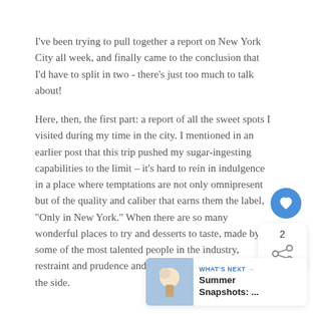I've been trying to pull together a report on New York City all week, and finally came to the conclusion that I'd have to split in two - there's just too much to talk about!
Here, then, the first part: a report of all the sweet spots I visited during my time in the city. I mentioned in an earlier post that this trip pushed my sugar-ingesting capabilities to the limit – it's hard to rein in indulgence in a place where temptations are not only omnipresent but of the quality and caliber that earns them the label, "Only in New York." When there are so many wonderful places to try and desserts to taste, made by some of the most talented people in the industry, restraint and prudence and skin jeans all get pushed to the side.
[Figure (other): Heart (like) button - circular blue button with white heart icon, share button below with count 2]
[Figure (other): What's Next widget with ice cream photo thumbnail, label 'WHAT'S NEXT →' in blue, title 'Summer Snapshots: ...']